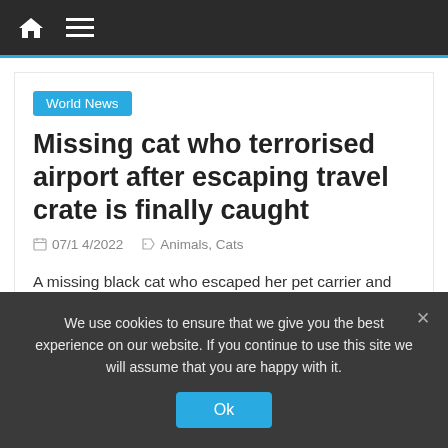Navigation bar with home and menu icons
World News
Missing cat who terrorised airport after escaping travel crate is finally caught
07/14/2022   Animals, Cats
A missing black cat who escaped her pet carrier and terrorised airport staff after giving them the slip has finally
We use cookies to ensure that we give you the best experience on our website. If you continue to use this site we will assume that you are happy with it.